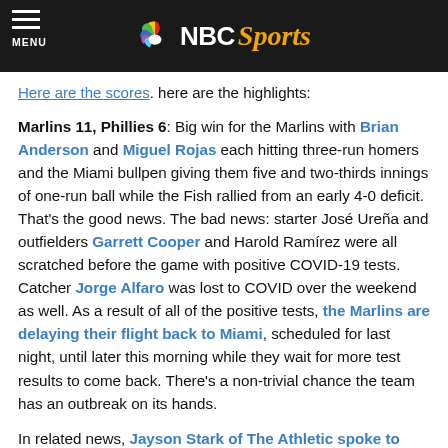NBC Sports
Here are the scores. here are the highlights:
Marlins 11, Phillies 6: Big win for the Marlins with Brian Anderson and Miguel Rojas each hitting three-run homers and the Miami bullpen giving them five and two-thirds innings of one-run ball while the Fish rallied from an early 4-0 deficit. That’s the good news. The bad news: starter José Ureña and outfielders Garrett Cooper and Harold Ramírez were all scratched before the game with positive COVID-19 tests. Catcher Jorge Alfaro was lost to COVID over the weekend as well. As a result of all of the positive tests, the Marlins are delaying their flight back to Miami, scheduled for last night, until later this morning while they wait for more test results to come back. There’s a non-trivial chance the team has an outbreak on its hands.
In related news, Jayson Stark of The Athletic spoke to